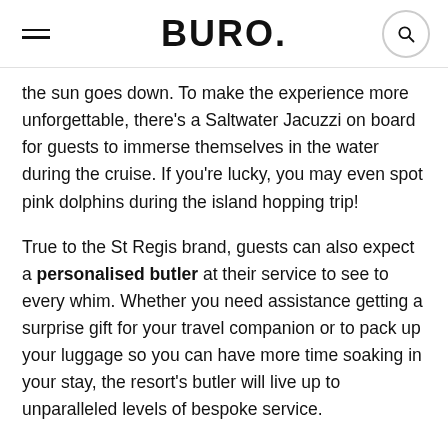BURO.
the sun goes down. To make the experience more unforgettable, there's a Saltwater Jacuzzi on board for guests to immerse themselves in the water during the cruise. If you're lucky, you may even spot pink dolphins during the island hopping trip!
True to the St Regis brand, guests can also expect a personalised butler at their service to see to every whim. Whether you need assistance getting a surprise gift for your travel companion or to pack up your luggage so you can have more time soaking in your stay, the resort's butler will live up to unparalleled levels of bespoke service.